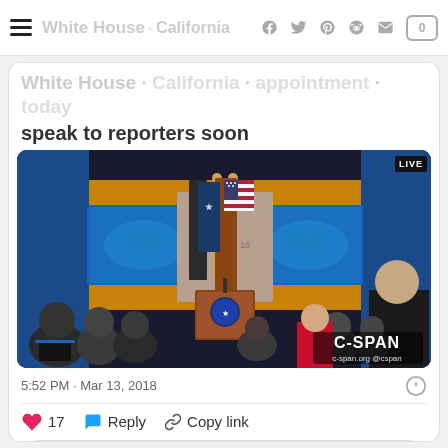White House · California · (navigation bar with social share icons and comment count 0)
speak to reporters soon
[Figure (screenshot): C-SPAN live video screenshot of U.S. State Department briefing room with podium, American flag, State Department seal, two blue monitors showing world maps, a countdown timer screen in the background, and journalists seated in the foreground. LIVE badge in top-right corner. C-SPAN watermark (c-span.org @cspan) in bottom-right.]
5:52 PM · Mar 13, 2018
17  Reply  Copy link
Read 6 replies